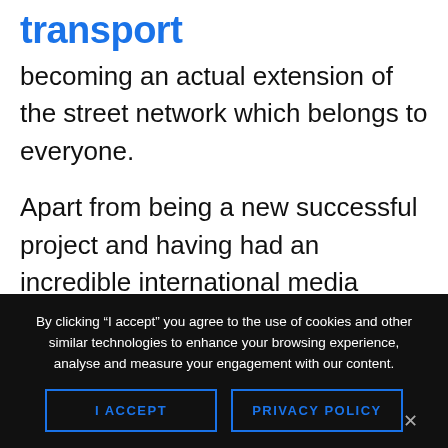transport
becoming an actual extension of the street network which belongs to everyone.
Apart from being a new successful project and having had an incredible international media resonance, able to reserve a place for this small
By clicking “I accept” you agree to the use of cookies and other similar technologies to enhance your browsing experience, analyse and measure your engagement with our content.
I ACCEPT
PRIVACY POLICY